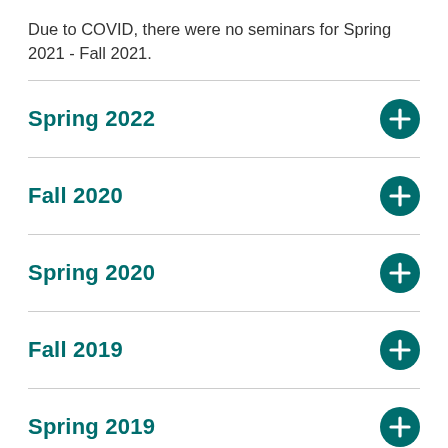Due to COVID, there were no seminars for Spring 2021 - Fall 2021.
Spring 2022
Fall 2020
Spring 2020
Fall 2019
Spring 2019